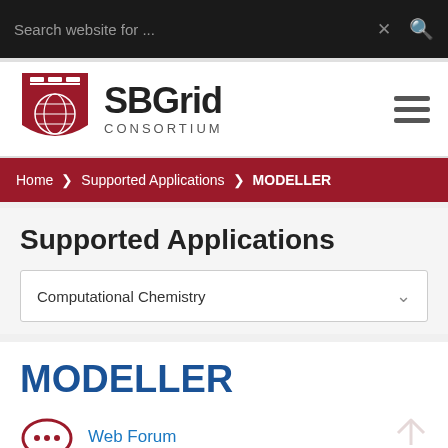Search website for ...
[Figure (logo): SBGrid Consortium Harvard shield logo with text SBGrid CONSORTIUM]
Supported Applications > MODELLER breadcrumb navigation
Supported Applications
Computational Chemistry (dropdown)
MODELLER
Web Forum